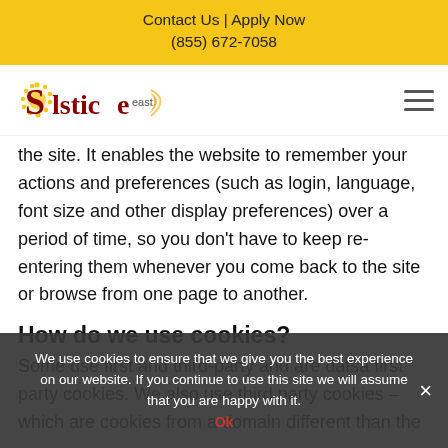Contact Us | Apply Now
(855) 672-7058
[Figure (logo): Solstice East logo with sun/dots graphic and crescent moon]
the site. It enables the website to remember your actions and preferences (such as login, language, font size and other display preferences) over a period of time, so you don't have to keep re-entering them whenever you come back to the site or browse from one page to another.
How do we use cookies?
Some use first party and third-party and are datsa first party cookies. We also use third party cookies – which are cookies from a domain different than the
We use cookies to ensure that we give you the best experience on our website. If you continue to use this site we will assume that you are happy with it.